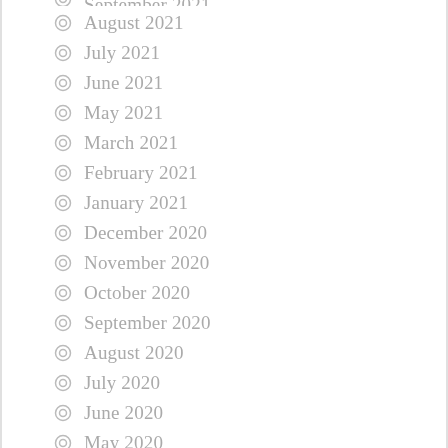August 2021
July 2021
June 2021
May 2021
March 2021
February 2021
January 2021
December 2020
November 2020
October 2020
September 2020
August 2020
July 2020
June 2020
May 2020
April 2020
March 2020